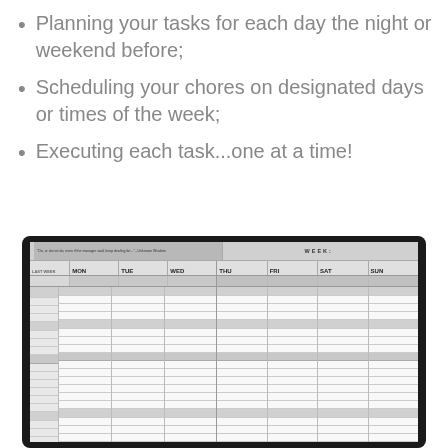Planning your tasks for each day the night or weekend before;
Scheduling your chores on designated days or times of the week;
Executing each task...one at a time!
[Figure (photo): A photograph of a weekly planner/scheduler spread open, showing a two-page layout with columns for days of the week (MON, TUE, WED on left page; THU, FRI, SAT, SUN on right page), with 'WEEK:' header on the right page. The planner has multiple rows for time slots and task entries, rendered in black and white/grayscale.]